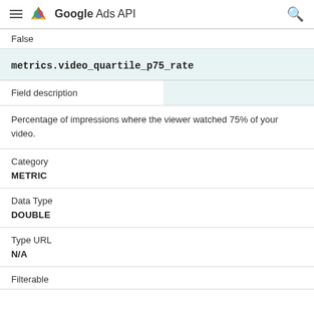Google Ads API
False
metrics.video_quartile_p75_rate
| Field description |  |
| --- | --- |
| Percentage of impressions where the viewer watched 75% of your video. |  |
| Category |  |
| --- | --- |
| METRIC |  |
| Data Type |  |
| --- | --- |
| DOUBLE |  |
| Type URL |  |
| --- | --- |
| N/A |  |
Filterable